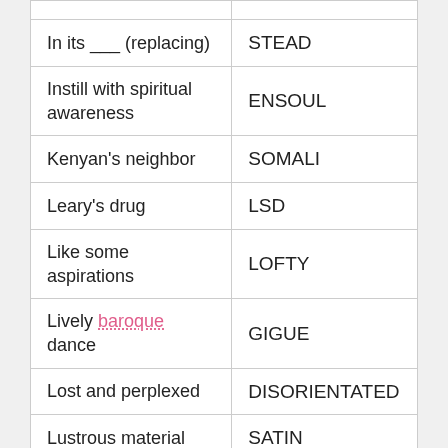| Clue | Answer |
| --- | --- |
| In its ___ (replacing) | STEAD |
| Instill with spiritual awareness | ENSOUL |
| Kenyan's neighbor | SOMALI |
| Leary's drug | LSD |
| Like some aspirations | LOFTY |
| Lively baroque dance | GIGUE |
| Lost and perplexed | DISORIENTATED |
| Lustrous material | SATIN |
| Made perfectly level | TRUED |
| Menacing snake | ASP |
| Money can wipe it out | DEBT |